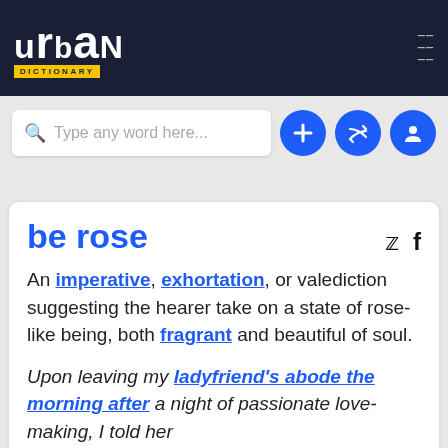Urban Dictionary
[Figure (screenshot): Urban Dictionary website header with logo, search bar, and navigation buttons]
be rose
An imperative, exhortation, or valediction suggesting the hearer take on a state of rose-like being, both fragrant and beautiful of soul.
Upon leaving my ladyfriend's abode the morning after a night of passionate love-making, I told her